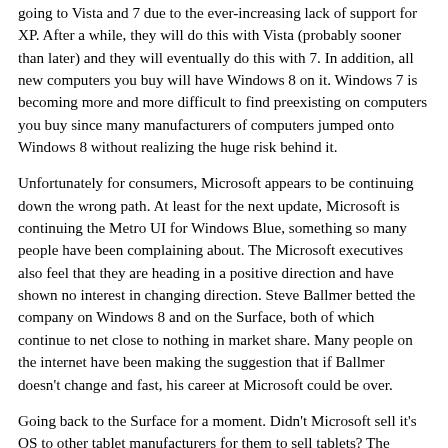going to Vista and 7 due to the ever-increasing lack of support for XP. After a while, they will do this with Vista (probably sooner than later) and they will eventually do this with 7. In addition, all new computers you buy will have Windows 8 on it. Windows 7 is becoming more and more difficult to find preexisting on computers you buy since many manufacturers of computers jumped onto Windows 8 without realizing the huge risk behind it.
Unfortunately for consumers, Microsoft appears to be continuing down the wrong path. At least for the next update, Microsoft is continuing the Metro UI for Windows Blue, something so many people have been complaining about. The Microsoft executives also feel that they are heading in a positive direction and have shown no interest in changing direction. Steve Ballmer betted the company on Windows 8 and on the Surface, both of which continue to net close to nothing in market share. Many people on the internet have been making the suggestion that if Ballmer doesn’t change and fast, his career at Microsoft could be over.
Going back to the Surface for a moment. Didn’t Microsoft sell it’s OS to other tablet manufacturers for them to sell tablets? The introduction of the Surface just about left Microsoft to fend for itself in the tablet industry with the tablet manufacturers moving towards Android and not Windows 8. Because Microsoft decided to make it’s own tablet, it decided to alienate it’s corporate allies who were making Windows 8 tablets. Now, those former allies are